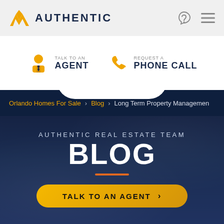AUTHENTIC
TALK TO AN AGENT
REQUEST A PHONE CALL
Orlando Homes For Sale > Blog > Long Term Property Managemen
AUTHENTIC REAL ESTATE TEAM BLOG
TALK TO AN AGENT >